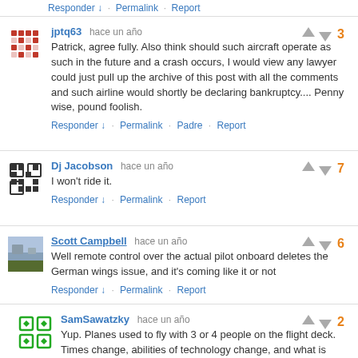Responder ↓ · Permalink · Report
jptq63  hace un año
Patrick, agree fully. Also think should such aircraft operate as such in the future and a crash occurs, I would view any lawyer could just pull up the archive of this post with all the comments and such airline would shortly be declaring bankruptcy.... Penny wise, pound foolish.
Responder ↓ · Permalink · Padre · Report
Dj Jacobson  hace un año
I won't ride it.
Responder ↓ · Permalink · Report
Scott Campbell  hace un año
Well remote control over the actual pilot onboard deletes the German wings issue, and it's coming like it or not
Responder ↓ · Permalink · Report
SamSawatzky  hace un año
Yup. Planes used to fly with 3 or 4 people on the flight deck. Times change, abilities of technology change, and what is necessary needs to be evaluated in light of that.